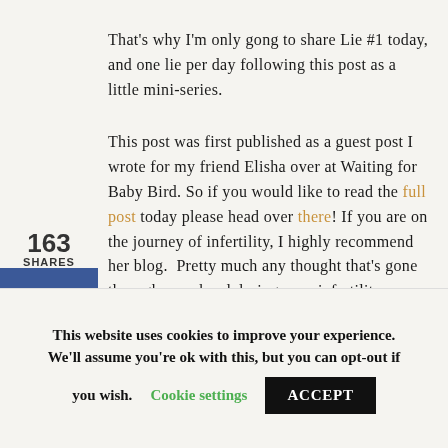That's why I'm only gong to share Lie #1 today, and one lie per day following this post as a little mini-series.
This post was first published as a guest post I wrote for my friend Elisha over at Waiting for Baby Bird. So if you would like to read the full post today please head over there! If you are on the journey of infertility, I highly recommend her blog.  Pretty much any thought that's gone through your head during your infertility
163 SHARES
This website uses cookies to improve your experience. We'll assume you're ok with this, but you can opt-out if you wish. Cookie settings ACCEPT